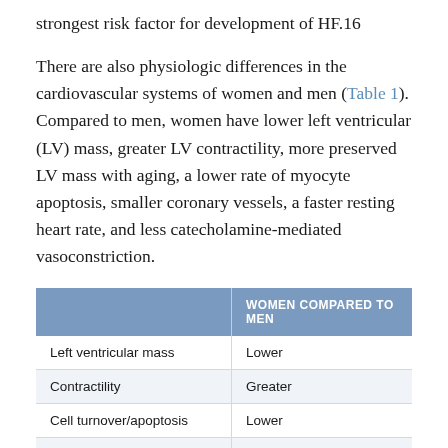strongest risk factor for development of HF.16
There are also physiologic differences in the cardiovascular systems of women and men (Table 1). Compared to men, women have lower left ventricular (LV) mass, greater LV contractility, more preserved LV mass with aging, a lower rate of myocyte apoptosis, smaller coronary vessels, a faster resting heart rate, and less catecholamine-mediated vasoconstriction.
|  | WOMEN COMPARED TO MEN |
| --- | --- |
| Left ventricular mass | Lower |
| Contractility | Greater |
| Cell turnover/apoptosis | Lower |
| Coronary vessel caliber | Smaller |